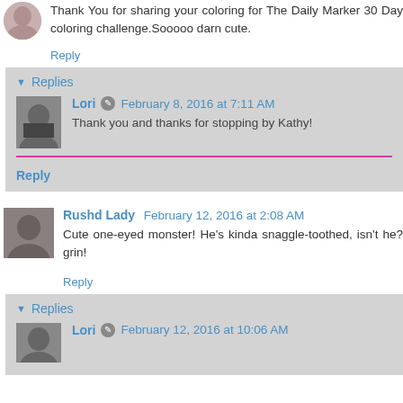Thank You for sharing your coloring for The Daily Marker 30 Day coloring challenge.Sooooo darn cute.
Reply
Replies
Lori  February 8, 2016 at 7:11 AM
Thank you and thanks for stopping by Kathy!
Reply
Rushd Lady  February 12, 2016 at 2:08 AM
Cute one-eyed monster! He's kinda snaggle-toothed, isn't he? grin!
Reply
Replies
Lori  February 12, 2016 at 10:06 AM